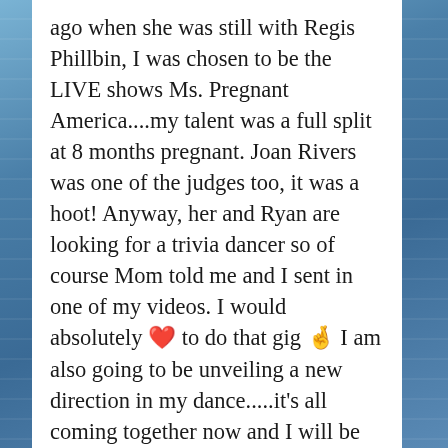ago when she was still with Regis Phillbin, I was chosen to be the LIVE shows Ms. Pregnant America....my talent was a full split at 8 months pregnant. Joan Rivers was one of the judges too, it was a hoot! Anyway, her and Ryan are looking for a trivia dancer so of course Mom told me and I sent in one of my videos. I would absolutely ❤ to do that gig 🤞 I am also going to be unveiling a new direction in my dance.....it's all coming together now and I will be creating content around it soon. It means so much to me that you see me and feel me Cindy 🤩❤🌈💃🏼📐🌞🌟 We are cut from the same cloth! Hey, if you know anybody out there in Cali that's looking for a dancer let me know